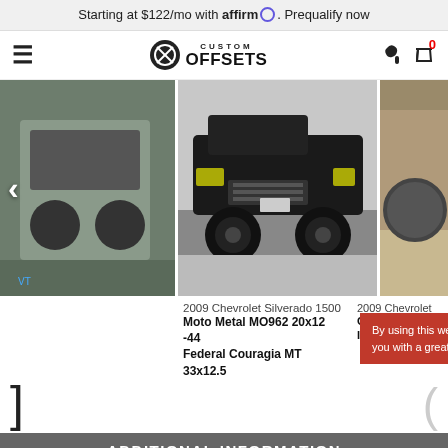Starting at $122/mo with affirm. Prequalify now
Custom Offsets
[Figure (photo): Three-panel image gallery showing lifted trucks. Center image: 2009 Chevrolet Silverado 1500 with Moto Metal MO962 20x12 -44 wheels and Federal Couragia MT 33x12.5 tires, parked in snow. Left and right panels show partial views of other trucks.]
2009 Chevrolet Silverado 1500
Moto Metal MO962 20x12 -44
Federal Couragia MT 33x12.5
2009 Chevrolet
Gear Off-Road
Ironman All C
By using this website, you agree to our use of cookies. We use cookies to provide you with a great experience and to help our website run effectively. Learn more
ADDITIONAL INFORMATION
Do 18x9 0 wheels on 285/65 tires fit on a 2009 Chevrolet